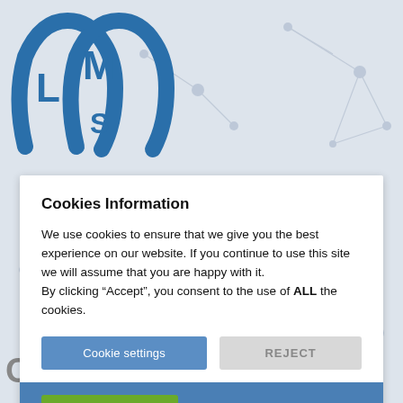[Figure (logo): LMS logo with horseshoe shapes in blue, letters L, M, S visible]
Cookies Information
We use cookies to ensure that we give you the best experience on our website. If you continue to use this site we will assume that you are happy with it. By clicking “Accept”, you consent to the use of ALL the cookies.
Cookie settings
REJECT
ACCEPT
Cookies Policy